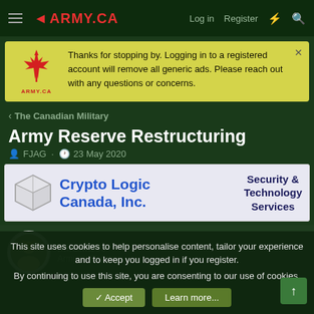ARMY.CA — Log in | Register
Thanks for stopping by. Logging in to a registered account will remove all generic ads. Please reach out with any questions or concerns.
< The Canadian Military
Army Reserve Restructuring
FJAG · 23 May 2020
[Figure (logo): Crypto Logic Canada, Inc. — Security & Technology Services advertisement banner]
MilEME09
Army.ca Fixture
This site uses cookies to help personalise content, tailor your experience and to keep you logged in if you register. By continuing to use this site, you are consenting to our use of cookies.